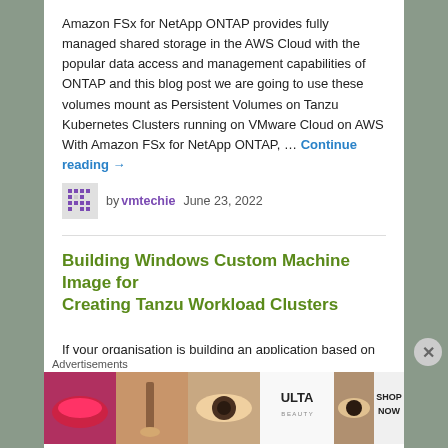Amazon FSx for NetApp ONTAP provides fully managed shared storage in the AWS Cloud with the popular data access and management capabilities of ONTAP and this blog post we are going to use these volumes mount as Persistent Volumes on Tanzu Kubernetes Clusters running on VMware Cloud on AWS With Amazon FSx for NetApp ONTAP, … Continue reading →
by vmtechie   June 23, 2022
Building Windows Custom Machine Image for Creating Tanzu Workload Clusters
If your organisation is building an application based on Windows components (such as .NET Framework) and willing to deploy Windows containers on VMware Tanzu, this blog post is on how to build a Windows custom machine image and deploy windows Kubernetes cluster. Windows Image Prerequisites  vSphere 6.7 Update 3 or
Advertisements
[Figure (photo): Advertisement banner for ULTA beauty products showing cosmetic images (lips with lipstick, makeup brush, eye with makeup, ULTA logo, eye with makeup) and SHOP NOW text]